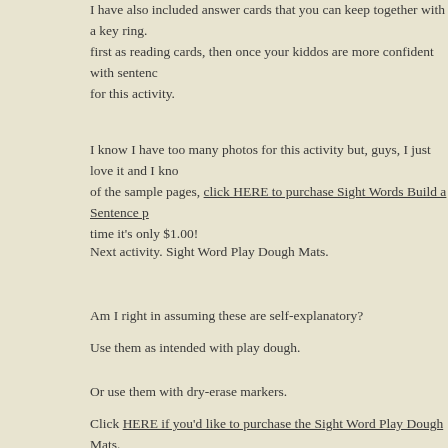I have also included answer cards that you can keep together with a key ring. first as reading cards, then once your kiddos are more confident with sentences, for this activity.
I know I have too many photos for this activity but, guys, I just love it and I know of the sample pages, click HERE to purchase Sight Words Build a Sentence p... time it's only $1.00!
Next activity. Sight Word Play Dough Mats.
Am I right in assuming these are self-explanatory?
Use them as intended with play dough.
Or use them with dry-erase markers.
Click HERE if you'd like to purchase the Sight Word Play Dough Mats.
Up next are some sight word q-tip cards. Only I didn't use a q-tip and paint; I look pretty cute, wouldn't you agree? And you're still working on fine motor sk